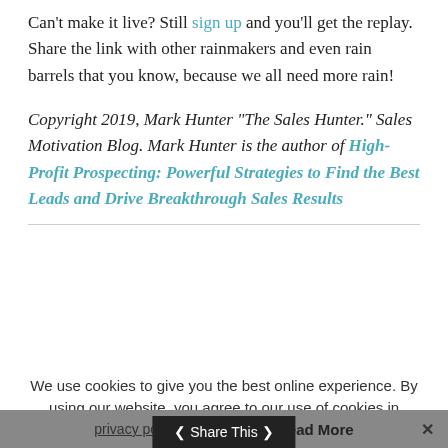Can't make it live? Still sign up and you'll get the replay. Share the link with other rainmakers and even rain barrels that you know, because we all need more rain!
Copyright 2019, Mark Hunter "The Sales Hunter." Sales Motivation Blog. Mark Hunter is the author of High-Profit Prospecting: Powerful Strategies to Find the Best Leads and Drive Breakthrough Sales Results
We use cookies to give you the best online experience. By using our website, you agree to our use of cookies in accordance with our privacy policy. Accept Read More ×